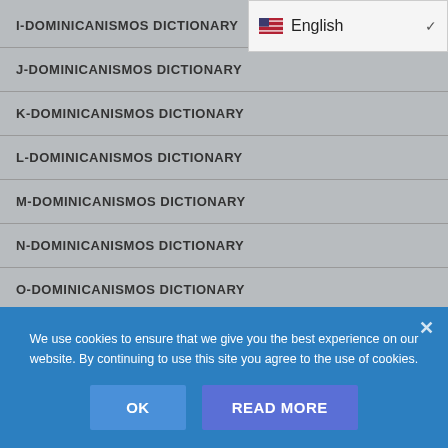[Figure (screenshot): Language selector showing English with US flag and dropdown chevron]
I-DOMINICANISMOS DICTIONARY
J-DOMINICANISMOS DICTIONARY
K-DOMINICANISMOS DICTIONARY
L-DOMINICANISMOS DICTIONARY
M-DOMINICANISMOS DICTIONARY
N-DOMINICANISMOS DICTIONARY
O-DOMINICANISMOS DICTIONARY
P-DOMINICANISMOS DICTIONARY
Q-DOMINICANISMOS DICTIONARY
We use cookies to ensure that we give you the best experience on our website. By continuing to use this site you agree to the use of cookies.
OK  READ MORE